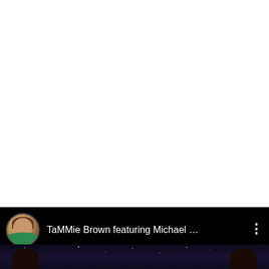[Figure (screenshot): YouTube video screenshot with white upper area and black bottom bar showing channel info for TaMMie Brown featuring Michael ...]
TaMMie Brown featuring Michael …